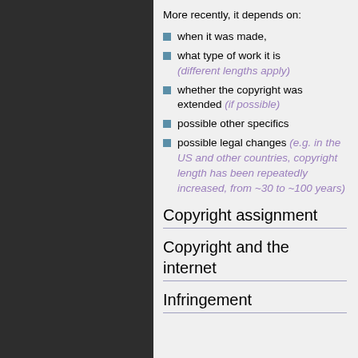[Figure (illustration): Dark gray background with repeating gear/cog pattern in a darker shade, arranged in a tiled pattern covering the left panel]
More recently, it depends on:
when it was made,
what type of work it is (different lengths apply)
whether the copyright was extended (if possible)
possible other specifics
possible legal changes (e.g. in the US and other countries, copyright length has been repeatedly increased, from ~30 to ~100 years)
Copyright assignment
Copyright and the internet
Infringement